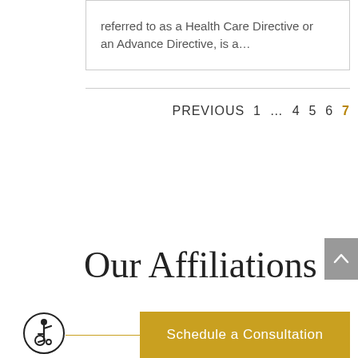referred to as a Health Care Directive or an Advance Directive, is a…
PREVIOUS 1 … 4 5 6 7
Our Affiliations
[Figure (illustration): Accessibility wheelchair user icon in a circle]
Schedule a Consultation